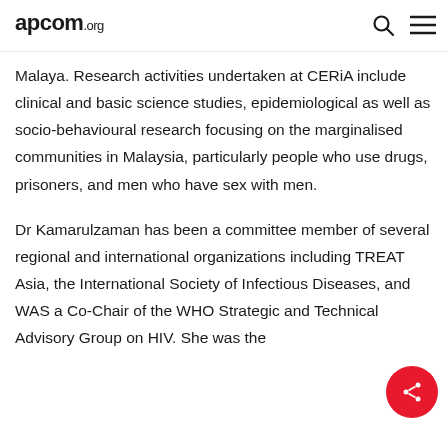apcom.org
Malaya. Research activities undertaken at CERiA include clinical and basic science studies, epidemiological as well as socio-behavioural research focusing on the marginalised communities in Malaysia, particularly people who use drugs, prisoners, and men who have sex with men.
Dr Kamarulzaman has been a committee member of several regional and international organizations including TREAT Asia, the International Society of Infectious Diseases, and WAS a Co-Chair of the WHO Strategic and Technical Advisory Group on HIV. She was the